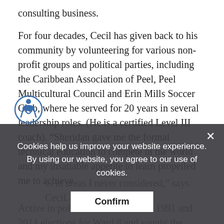consulting business.
For four decades, Cecil has given back to his community by volunteering for various non-profit groups and political parties, including the Caribbean Association of Peel, Peel Multicultural Council and Erin Mills Soccer Club, where he served for 20 years in several leadership roles. (He is a certified Level III coach). “Sheridan gave me the formal technical education to compete in the world and my insatiable appetite to learn propelled me to achieve …ss in areas I never considered,” says Cecil.
Active in politics, Cecil ran in the 1991 and 2014 elections for Ward 8 and sought the Liberal nomination in Mississauga-Streetsville in 2008. He was a member of the boards of both the federal and provincial Liberal Parties for
Cookies help us improve your website experience. By using our website, you agree to our use of cookies. Confirm